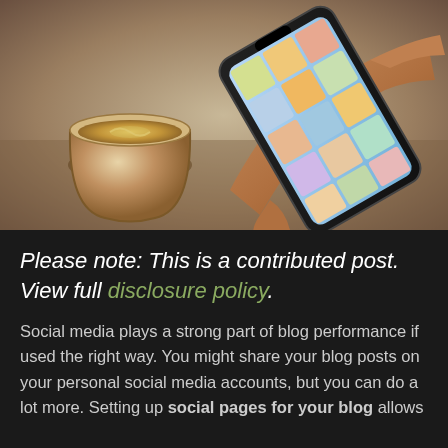[Figure (photo): A hand holding a smartphone displaying a grid of food photos on a social media app, with a coffee cup in the background on a wooden surface.]
Please note: This is a contributed post. View full disclosure policy.
Social media plays a strong part of blog performance if used the right way. You might share your blog posts on your personal social media accounts, but you can do a lot more. Setting up social pages for your blog allows